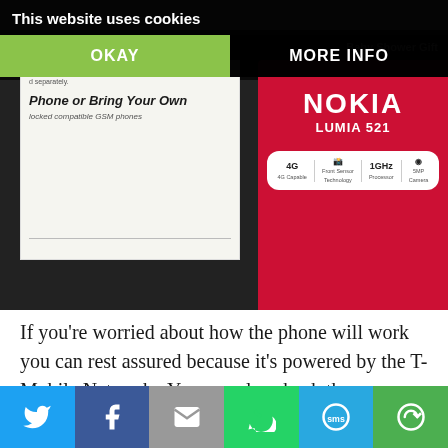[Figure (screenshot): Photograph showing a Nokia Lumia 521 phone box (red, with NOKIA LUMIA 521 branding and 4G/1GHz specs label) alongside a white leaflet reading 'Phone or Bring Your Own' with small text about GSM phones. A website cookie consent banner overlays the top of the image with 'This website uses cookies', an OKAY button (green) and MORE INFO button. Background is dark.]
If you’re worried about how the phone will work you can rest assured because it’s powered by the T-Mobile Network.  You can also check the coverage map online.  So far
[Figure (screenshot): Bottom share bar with 6 icons: Twitter (blue), Facebook (dark blue), Email (grey envelope), WhatsApp (green), SMS (light blue), and a circular arrow/more icon (green).]